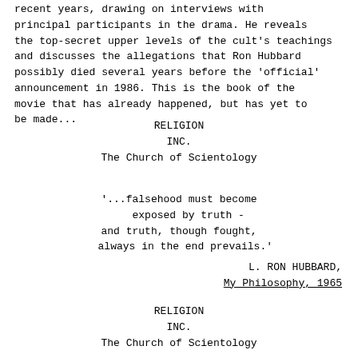recent years, drawing on interviews with principal participants in the drama. He reveals the top-secret upper levels of the cult's teachings and discusses the allegations that Ron Hubbard possibly died several years before the 'official' announcement in 1986. This is the book of the movie that has already happened, but has yet to be made...
RELIGION
INC.
The Church of Scientology
'...falsehood must become
   exposed by truth -
and truth, though fought,
  always in the end prevails.'
L. RON HUBBARD,
_My Philosophy, 1965_
RELIGION
INC.
The Church of Scientology